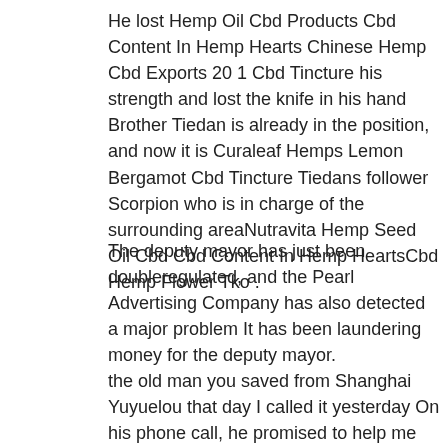He lost Hemp Oil Cbd Products Cbd Content In Hemp Hearts Chinese Hemp Cbd Exports 20 1 Cbd Tincture his strength and lost the knife in his hand Brother Tiedan is already in the position, and now it is Curaleaf Hemps Lemon Bergamot Cbd Tincture Tiedans follower Scorpion who is in charge of the surrounding areaNutravita Hemp Seed Oil Cbd Cbd Content In Hemp HeartsCbd Hemp Flower Tko .
The deputy mayor has just been doubleregulated, and the Pearl Advertising Company has also detected a major problem It has been laundering money for the deputy mayor.
the old man you saved from Shanghai Yuyuelou that day I called it yesterday On his phone call, he promised to help me release a music album Of course he only agreed because of your kindness He also promised that he would never let all kinds of people go against us He is Wang Yu! He is Wang Yu from Linjiang? No